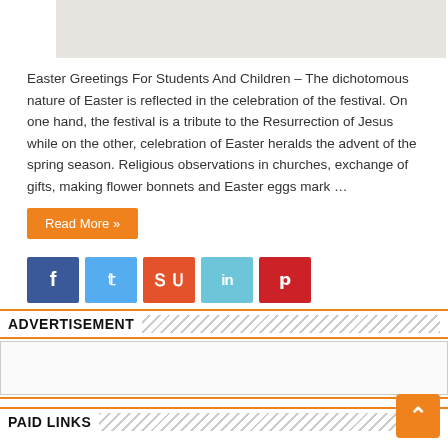[Figure (photo): Decorative Easter themed image with soft tones]
Easter Greetings For Students And Children – The dichotomous nature of Easter is reflected in the celebration of the festival. On one hand, the festival is a tribute to the Resurrection of Jesus while on the other, celebration of Easter heralds the advent of the spring season. Religious observations in churches, exchange of gifts, making flower bonnets and Easter eggs mark …
Read More »
[Figure (infographic): Social media share buttons: Facebook, Twitter, StumbleUpon, LinkedIn, Pinterest]
ADVERTISEMENT
[Figure (other): Advertisement placeholder box]
PAID LINKS